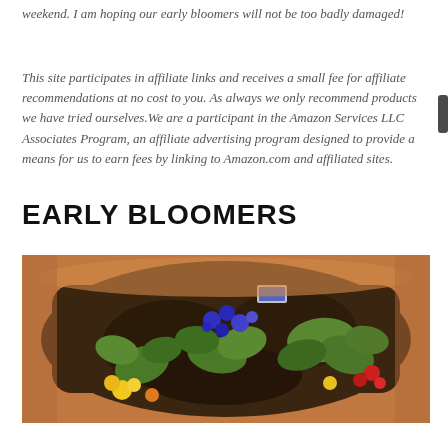weekend. I am hoping our early bloomers will not be too badly damaged!
This site participates in affiliate links and receives a small fee for affiliate recommendations at no cost to you. As always we only recommend products we have tried ourselves.We are a participant in the Amazon Services LLC Associates Program, an affiliate advertising program designed to provide a means for us to earn fees by linking to Amazon.com and affiliated sites.
EARLY BLOOMERS
[Figure (photo): A terra cotta pot filled with soil and early blooming plants including purple flowers, yellow flowers, red flowers, and green leafy plants.]